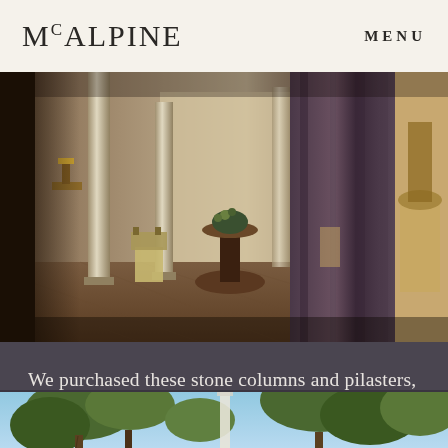McALPINE   MENU
[Figure (photo): Interior hallway of a grand estate featuring large round stone columns, ornate carved wooden side table with floral arrangement, gilded wall sconces with candles, heavy draped curtains in dark purple/brown, antique chairs with carved wooden frames, decorative urns, and herringbone wood floor. Warm amber lighting throughout.]
We purchased these stone columns and pilasters, salvaged from an English estate, and actually designed the house around them.
[Figure (photo): Outdoor scene with tall pine trees against a blue sky, and a white column or pillar visible in the background.]